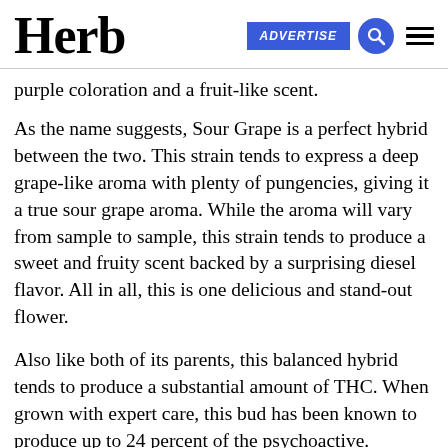Herb | ADVERTISE
purple coloration and a fruit-like scent.
As the name suggests, Sour Grape is a perfect hybrid between the two. This strain tends to express a deep grape-like aroma with plenty of pungencies, giving it a true sour grape aroma. While the aroma will vary from sample to sample, this strain tends to produce a sweet and fruity scent backed by a surprising diesel flavor. All in all, this is one delicious and stand-out flower.
Also like both of its parents, this balanced hybrid tends to produce a substantial amount of THC. When grown with expert care, this bud has been known to produce up to 24 percent of the psychoactive.
Sour Grape, however, does not tend to produce high amounts of CBD. This means that this bud has a